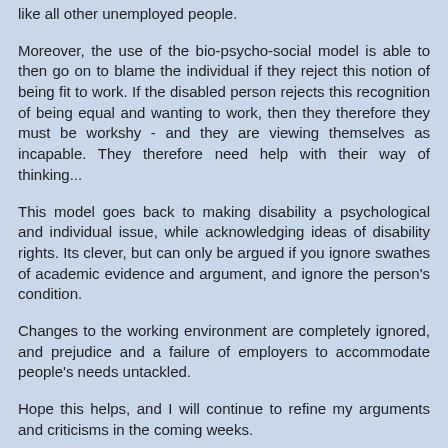like all other unemployed people.
Moreover, the use of the bio-psycho-social model is able to then go on to blame the individual if they reject this notion of being fit to work. If the disabled person rejects this recognition of being equal and wanting to work, then they therefore they must be workshy - and they are viewing themselves as incapable. They therefore need help with their way of thinking...
This model goes back to making disability a psychological and individual issue, while acknowledging ideas of disability rights. Its clever, but can only be argued if you ignore swathes of academic evidence and argument, and ignore the person's condition.
Changes to the working environment are completely ignored, and prejudice and a failure of employers to accommodate people's needs untackled.
Hope this helps, and I will continue to refine my arguments and criticisms in the coming weeks.